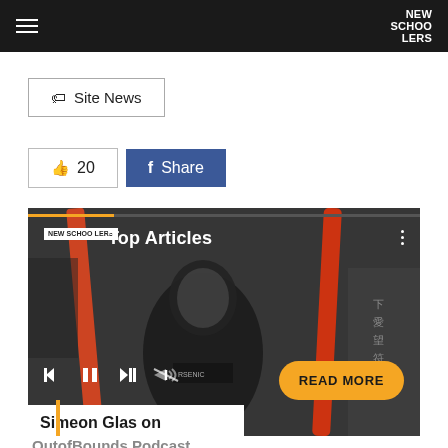NEW SCHOOLERS
Site News
20  Share
[Figure (screenshot): Media player card showing a black and white photo of a person holding skis, with New Schoolers logo, 'Top Articles' label, playback controls, a READ MORE button, and caption 'Simeon Glas on OutofBounds Podcast']
Simeon Glas on OutofBounds Podcast